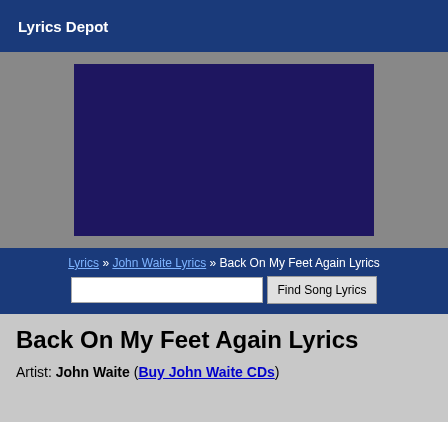Lyrics Depot
[Figure (other): Dark navy blue advertisement or image placeholder block on a gray background]
Lyrics » John Waite Lyrics » Back On My Feet Again Lyrics
Back On My Feet Again Lyrics
Artist: John Waite (Buy John Waite CDs)